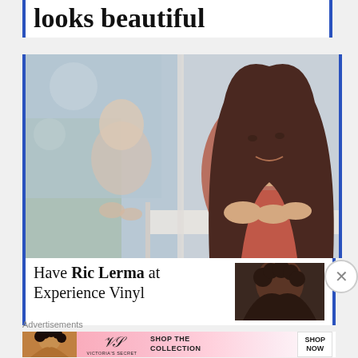looks beautiful
[Figure (photo): A young girl with long brown hair resting her chin on her hands, looking out a window. Her reflection is visible in the glass.]
Have Ric Lerma at Experience Vinyl
[Figure (photo): Thumbnail image showing a person with dark curly hair, partial view.]
Advertisements
[Figure (infographic): Victoria's Secret advertisement banner: woman model on left, VS logo in center, 'SHOP THE COLLECTION' text, and 'SHOP NOW' button on right. Pink gradient background.]